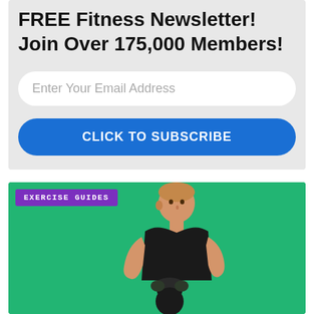FREE Fitness Newsletter! Join Over 175,000 Members!
[Figure (screenshot): Email input field with placeholder text 'Enter Your Email Address' on a light gray background]
[Figure (screenshot): Blue rounded button with text 'CLICK TO SUBSCRIBE']
[Figure (photo): Man in black sleeveless shirt holding a kettlebell against a green background, with a purple 'EXERCISE GUIDES' badge in the top left corner]